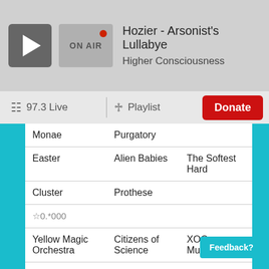Hozier - Arsonist's Lullabye | Higher Consciousness | ON AIR
97.3 Live | Playlist | Donate
| Artist | Song | Album |
| --- | --- | --- |
| Monae | Purgatory |  |
| Easter | Alien Babies | The Softest Hard |
| Cluster | Prothese |  |
| ☆0.*000 |  |  |
| Yellow Magic Orchestra | Citizens of Science | XOO Multiples |
| Gabriel Garzon-Montana | Naeja | Bishuono |
| Session | Cow | The |
Feedback?